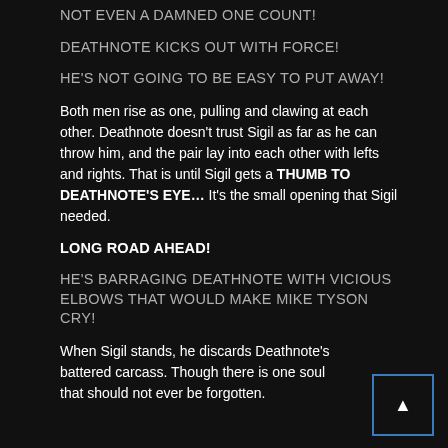NOT EVEN A DAMNED ONE COUNT!
DEATHNOTE KICKS OUT WITH FORCE!
HE'S NOT GOING TO BE EASY TO PUT AWAY!
Both men rise as one, pulling and clawing at each other. Deathnote doesn't trust Sigil as far as he can throw him, and the pair lay into each other with lefts and rights. That is until Sigil gets a THUMB TO DEATHNOTE'S EYE… It's the small opening that Sigil needed.
LONG ROAD AHEAD!
HE'S BARRAGING DEATHNOTE WITH VICIOUS ELBOWS THAT WOULD MAKE MIKE TYSON CRY!
When Sigil stands, he discards Deathnote's battered carcass. Though there is one soul that should not ever be forgotten.